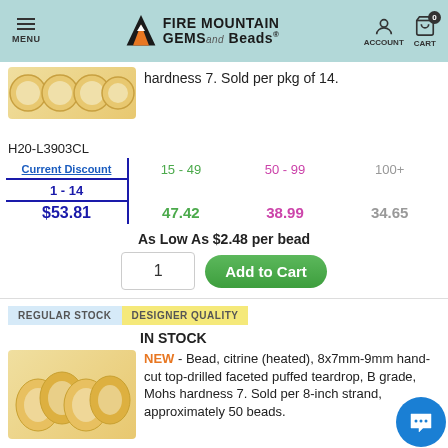MENU | FIRE MOUNTAIN GEMS and Beads | ACCOUNT | CART 0
hardness 7. Sold per pkg of 14.
H20-L3903CL
| Current Discount | 15 - 49 | 50 - 99 | 100+ |
| --- | --- | --- | --- |
| 1 - 14 | 15 - 49 | 50 - 99 | 100+ |
| $53.81 | 47.42 | 38.99 | 34.65 |
As Low As $2.48 per bead
IN STOCK
[Figure (photo): Citrine beads top view - round faceted gold-toned beads]
REGULAR STOCK   DESIGNER QUALITY
IN STOCK
[Figure (photo): Citrine teardrop beads - hand-cut faceted puffed teardrops]
NEW - Bead, citrine (heated), 8x7mm-9mm hand-cut top-drilled faceted puffed teardrop, B grade, Mohs hardness 7. Sold per 8-inch strand, approximately 50 beads.